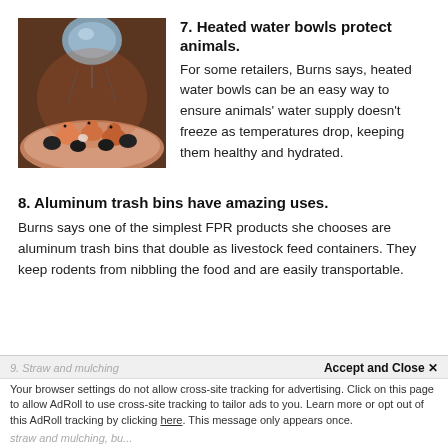[Figure (photo): Photo of small animals (chicks or birds) huddled under a heat lamp on pink bedding material, with a dark heat lamp visible above them.]
7. Heated water bowls protect animals.
For some retailers, Burns says, heated water bowls can be an easy way to ensure animals’ water supply doesn’t freeze as temperatures drop, keeping them healthy and hydrated.
8. Aluminum trash bins have amazing uses.
Burns says one of the simplest FPR products she chooses are aluminum trash bins that double as livestock feed containers. They keep rodents from nibbling the food and are easily transportable.
9. Straw and mulching   Accept and Close ×
Your browser settings do not allow cross-site tracking for advertising. Click on this page to allow AdRoll to use cross-site tracking to tailor ads to you. Learn more or opt out of this AdRoll tracking by clicking here. This message only appears once.
straw and mulching, bu...